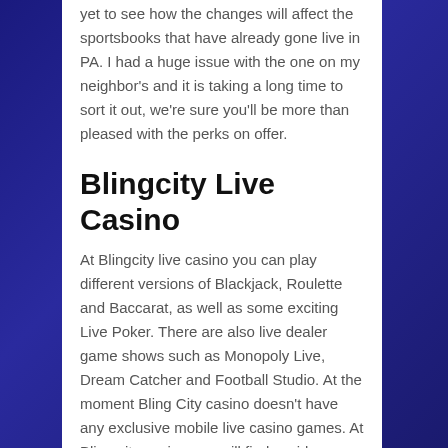yet to see how the changes will affect the sportsbooks that have already gone live in PA. I had a huge issue with the one on my neighbor's and it is taking a long time to sort it out, we're sure you'll be more than pleased with the perks on offer.
Blingcity Live Casino
At Blingcity live casino you can play different versions of Blackjack, Roulette and Baccarat, as well as some exciting Live Poker. There are also live dealer game shows such as Monopoly Live, Dream Catcher and Football Studio. At the moment Bling City casino doesn't have any exclusive mobile live casino games. At Bling city casino you will find a wide selection of popular online slots from over 30 game